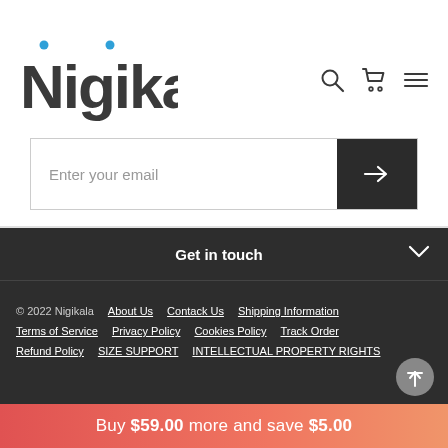[Figure (logo): Nigikala logo with blue dots accent marks above letters i and a]
[Figure (other): Search, cart, and hamburger menu icons in header]
Enter your email
Get in touch
© 2022 Nigikala  About Us  Contack Us  Shipping Information  Terms of Service  Privacy Policy  Cookies Policy  Track Order  Refund Policy  SIZE SUPPORT  INTELLECTUAL PROPERTY RIGHTS
Buy $59.00 more and save $5.00